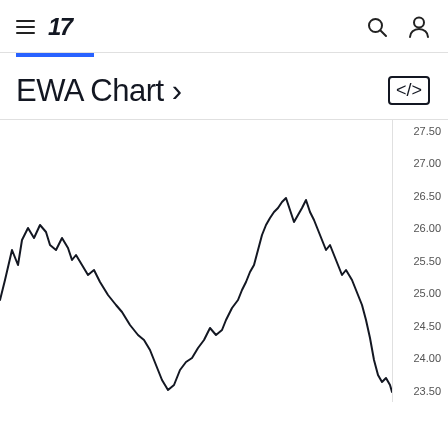TradingView header with hamburger menu, TV logo, search icon, user icon
EWA Chart ›
[Figure (continuous-plot): EWA stock price line chart showing price movement between approximately 23.50 and 27.00, with peaks around 26.50-27.00 on the left side and middle, and a sharp dip to ~23.50 on the right before recovering. Y-axis labels: 27.50, 27.00, 26.50, 26.00, 25.50, 25.00, 24.50, 24.00, 23.50.]